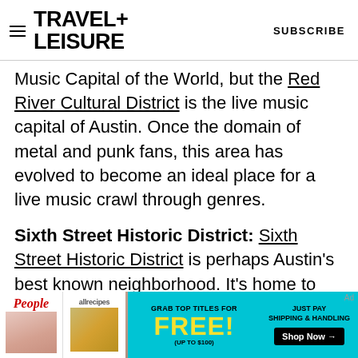TRAVEL+ LEISURE   SUBSCRIBE
Music Capital of the World, but the Red River Cultural District is the live music capital of Austin. Once the domain of metal and punk fans, this area has evolved to become an ideal place for a live music crawl through genres.
Sixth Street Historic District: Sixth Street Historic District is perhaps Austin's best known neighborhood. It's home to the historic Driskill Hotel and a seemingly endless array of bars, clubs, and restaurants. The street occasionally closes to traffic for tailgating and other events.
[Figure (other): Advertisement banner: People and allrecipes magazines promotion. Grab top titles for FREE! (up to $100). Just pay shipping & handling. Shop Now arrow button.]